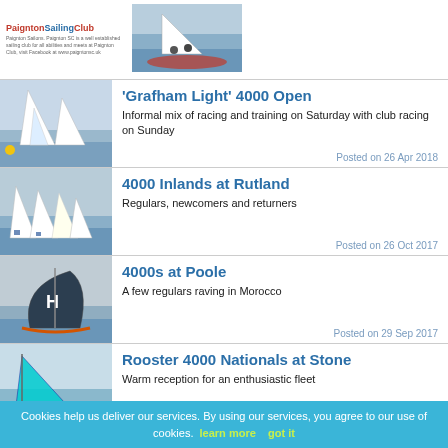Paignton Sailing Club - [logo and header image with two sailors]
'Grafham Light' 4000 Open
Informal mix of racing and training on Saturday with club racing on Sunday
Posted on 26 Apr 2018
4000 Inlands at Rutland
Regulars, newcomers and returners
Posted on 26 Oct 2017
4000s at Poole
A few regulars raving in Morocco
Posted on 29 Sep 2017
Rooster 4000 Nationals at Stone
Warm reception for an enthusiastic fleet
Posted on 1 Sep 2017
Cookies help us deliver our services. By using our services, you agree to our use of cookies. learn more   got it